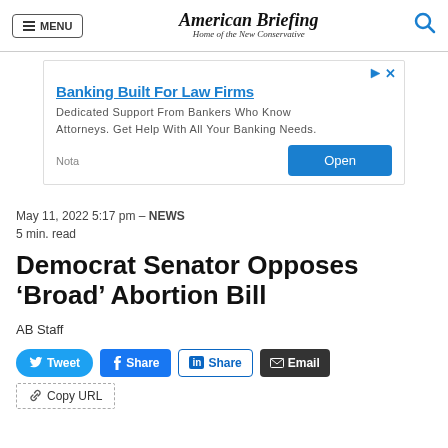MENU | American Briefing — Home of the New Conservative
[Figure (other): Advertisement banner: Banking Built For Law Firms. Dedicated Support From Bankers Who Know Attorneys. Get Help With All Your Banking Needs. Nota | Open button]
May 11, 2022 5:17 pm - NEWS
5 min. read
Democrat Senator Opposes ‘Broad’ Abortion Bill
AB Staff
[Figure (other): Social share buttons: Tweet, Share (Facebook), Share (LinkedIn), Email, Copy URL]